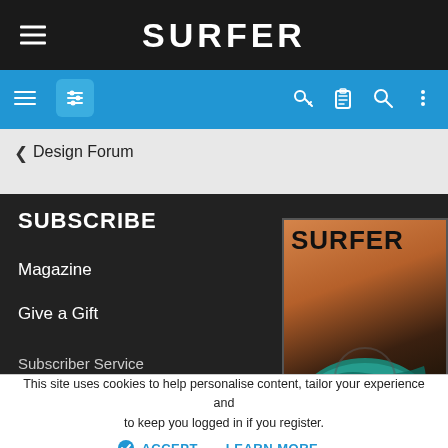SURFER
[Figure (screenshot): Blue navigation bar with hamburger menu, filter icon, and right-side icons (key, clipboard, search, more)]
< Design Forum
SUBSCRIBE
Magazine
Give a Gift
Subscriber Service
[Figure (illustration): Surfer magazine cover with dark orange/brown tones and globe with wave]
This site uses cookies to help personalise content, tailor your experience and to keep you logged in if you register.
By continuing to use this site, you are consenting to our use of cookies.
ACCEPT   LEARN MORE...